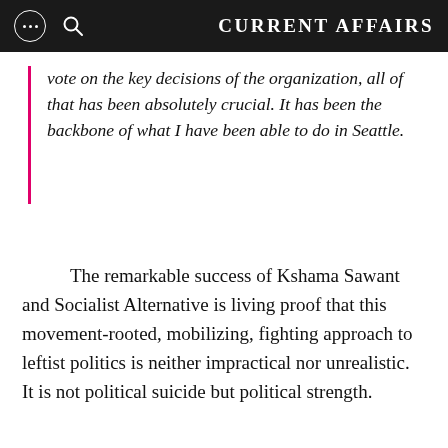CURRENT AFFAIRS
vote on the key decisions of the organization, all of that has been absolutely crucial. It has been the backbone of what I have been able to do in Seattle.
The remarkable success of Kshama Sawant and Socialist Alternative is living proof that this movement-rooted, mobilizing, fighting approach to leftist politics is neither impractical nor unrealistic. It is not political suicide but political strength.